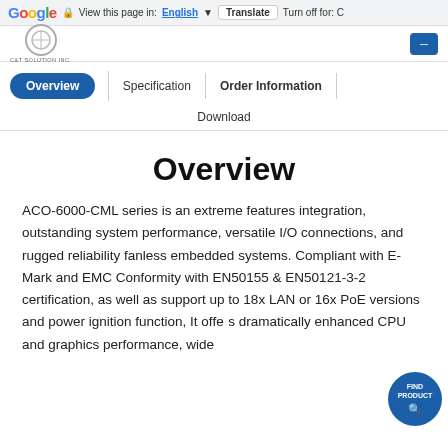Google | View this page in: English | Translate | Turn off for: C
[Figure (logo): C&T Solution Inc. company logo]
Overview | Specification | Order Information | Download
Overview
ACO-6000-CML series is an extreme features integration, outstanding system performance, versatile I/O connections, and rugged reliability fanless embedded systems. Compliant with E-Mark and EMC Conformity with EN50155 & EN50121-3-2 certification, as well as support up to 18x LAN or 16x PoE versions and power ignition function, It offers dramatically enhanced CPU and graphics performance, wide